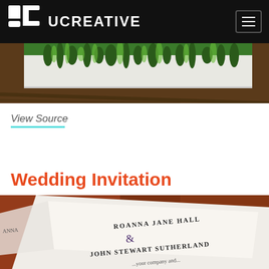UCREATIVE
[Figure (photo): Close-up photo of botanical/grass illustration on a card, on wooden surface]
View Source
Wedding Invitation
[Figure (photo): Close-up photo of a wedding invitation showing names ROANNA JANE HALL & JOHN STEWART SUTHERLAND with text ...your company and...]